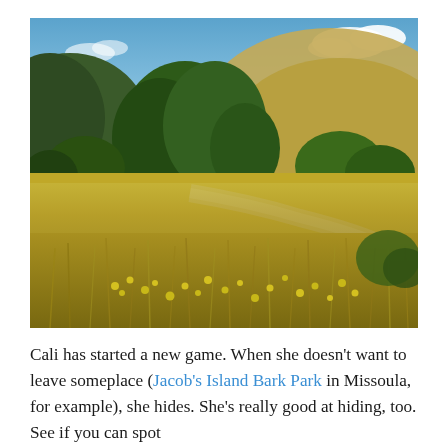[Figure (photo): Outdoor landscape photo showing a grassy meadow with yellow wildflowers in the foreground, trees and shrubs in the middle ground, and a rounded hillside under a partly cloudy blue sky in the background. A dirt path curves through the scene. Location appears to be Jacob's Island Bark Park in Missoula.]
Cali has started a new game. When she doesn't want to leave someplace (Jacob's Island Bark Park in Missoula, for example), she hides. She's really good at hiding, too. See if you can spot